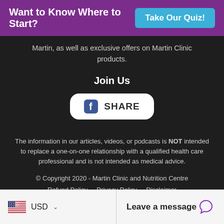Want to Know Where to Start? Take Our Quiz!
Martin, as well as exclusive offers on Martin Clinic products.
Join Us
[Figure (other): Facebook Share button with Facebook logo icon and SHARE text on white rounded rectangle background]
The information in our articles, videos, or podcasts is NOT intended to replace a one-on-one relationship with a qualified health care professional and is not intended as medical advice.
© Copyright 2020 - Martin Clinic and Nutrition Centre
Refund Policy | Privacy Policy | Disclaimer
Terms and Conditions
USD ∨  Leave a message